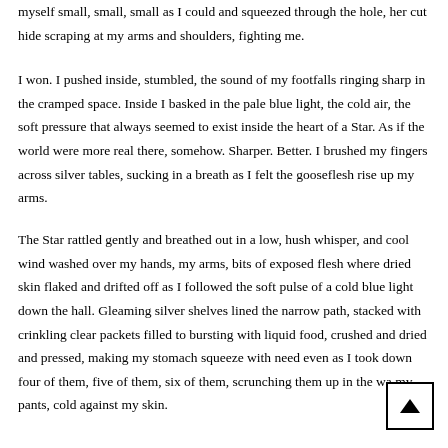myself small, small, small as I could and squeezed through the hole, her cut hide scraping at my arms and shoulders, fighting me.
I won. I pushed inside, stumbled, the sound of my footfalls ringing sharp in the cramped space. Inside I basked in the pale blue light, the cold air, the soft pressure that always seemed to exist inside the heart of a Star. As if the world were more real there, somehow. Sharper. Better. I brushed my fingers across silver tables, sucking in a breath as I felt the gooseflesh rise up my arms.
The Star rattled gently and breathed out in a low, hush whisper, and cool wind washed over my hands, my arms, bits of exposed flesh where dried skin flaked and drifted off as I followed the soft pulse of a cold blue light down the hall. Gleaming silver shelves lined the narrow path, stacked with crinkling clear packets filled to bursting with liquid food, crushed and dried and pressed, making my stomach squeeze with need even as I took down four of them, five of them, six of them, scrunching them up in the wa my pants, cold against my skin.